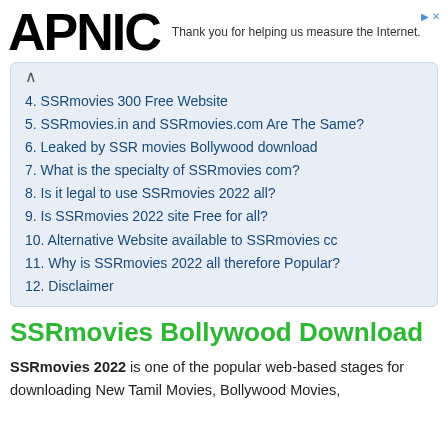APNIC — Thank you for helping us measure the Internet.
4. SSRmovies 300 Free Website
5. SSRmovies.in and SSRmovies.com Are The Same?
6. Leaked by SSR movies Bollywood download
7. What is the specialty of SSRmovies com?
8. Is it legal to use SSRmovies 2022 all?
9. Is SSRmovies 2022 site Free for all?
10. Alternative Website available to SSRmovies cc
11. Why is SSRmovies 2022 all therefore Popular?
12. Disclaimer
SSRmovies Bollywood Download
SSRmovies 2022 is one of the popular web-based stages for downloading New Tamil Movies, Bollywood Movies,